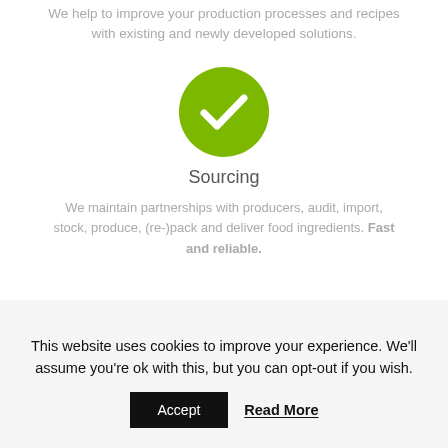We help to improve your production processes and recipes with existing and newly developed solutions.
[Figure (illustration): Green circle with white checkmark icon]
Sourcing
We maintain partnerships with producers, audit, import, stock, produce, (re-)pack and deliver food ingredients. Fast and reliable.
This website uses cookies to improve your experience. We'll assume you're ok with this, but you can opt-out if you wish.
Accept   Read More